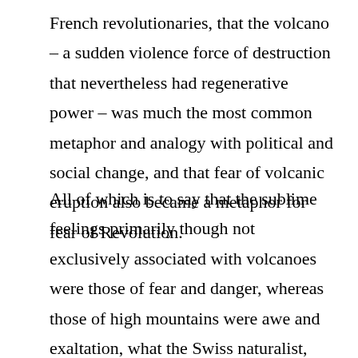French revolutionaries, that the volcano – a sudden violence force of destruction that nevertheless had regenerative power – was much the most common metaphor and analogy with political and social change, and that fear of volcanic eruption also became a metaphor for fear of Revolution.
All of which is to say that the sublime feelings primarily though not exclusively associated with volcanoes were those of fear and danger, whereas those of high mountains were awe and exaltation, what the Swiss naturalist, Jean De Luc, described as “a kind of sensation of immensity it is impossible to explain”. Whether in the form of a Rousseauian reverie on a pristine natural order or as a piece of natural theology,